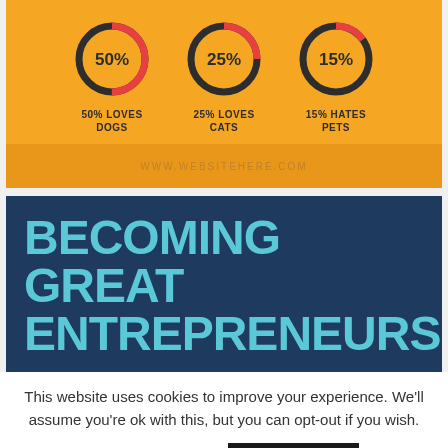[Figure (infographic): Three donut charts on orange background: 50% Loves Dogs, 25% Loves Cats, 15% Hates Pets]
WWW.WEBSITEHERE.COM
BECOMING GREAT ENTREPRENEURS
This website uses cookies to improve your experience. We'll assume you're ok with this, but you can opt-out if you wish.
Cookie settings   ACCEPT